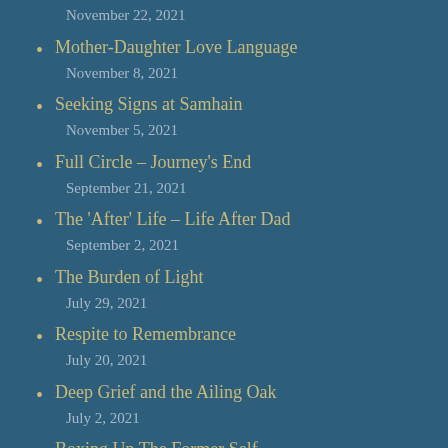November 22, 2021
Mother-Daughter Love Language
November 8, 2021
Seeking Signs at Samhain
November 5, 2021
Full Circle – Journey's End
September 21, 2021
The 'After' Life – Life After Dad
September 2, 2021
The Burden of Light
July 29, 2021
Respite to Remembrance
July 20, 2021
Deep Grief and the Ailing Oak
July 2, 2021
Boxing Up The Former Self